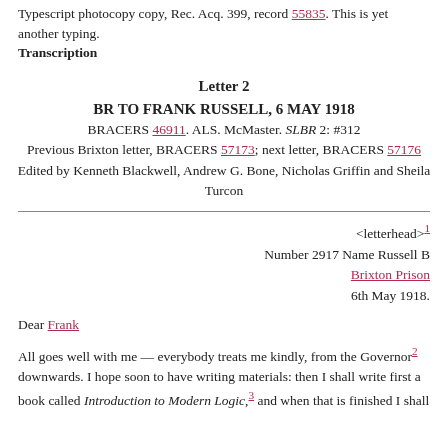Typescript photocopy copy, Rec. Acq. 399, record 55835. This is yet another typing.
Transcription
Letter 2
BR TO FRANK RUSSELL, 6 MAY 1918
BRACERS 46911. ALS. McMaster. SLBR 2: #312
Previous Brixton letter, BRACERS 57173; next letter, BRACERS 57176
Edited by Kenneth Blackwell, Andrew G. Bone, Nicholas Griffin and Sheila Turcon
<letterhead>1
Number 2917 Name Russell B
Brixton Prison
6th May 1918.
Dear Frank
All goes well with me — everybody treats me kindly, from the Governor2 downwards. I hope soon to have writing materials: then I shall write first a book called Introduction to Modern Logic,3 and when that is finished I shall